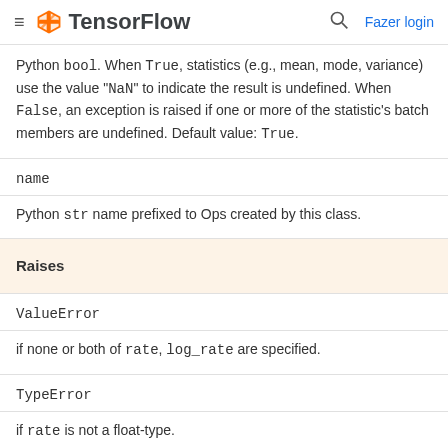TensorFlow — Fazer login
Python bool. When True, statistics (e.g., mean, mode, variance) use the value "NaN" to indicate the result is undefined. When False, an exception is raised if one or more of the statistic's batch members are undefined. Default value: True.
name
Python str name prefixed to Ops created by this class.
Raises
ValueError
if none or both of rate, log_rate are specified.
TypeError
if rate is not a float-type.
TypeError